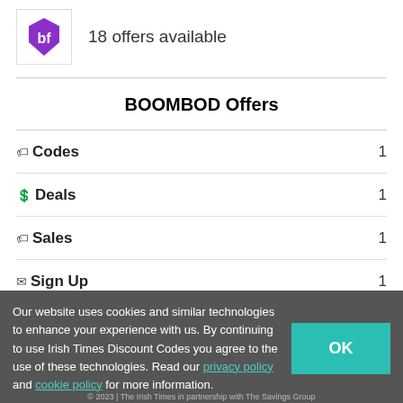[Figure (logo): BOOMBOD purple hexagon logo with 'bf' text]
18 offers available
BOOMBOD Offers
Codes  1
Deals  1
Sales  1
Sign Up  1
Our website uses cookies and similar technologies to enhance your experience with us. By continuing to use Irish Times Discount Codes you agree to the use of these technologies. Read our privacy policy and cookie policy for more information.
© 2023 | The Irish Times in partnership with The Savings Group